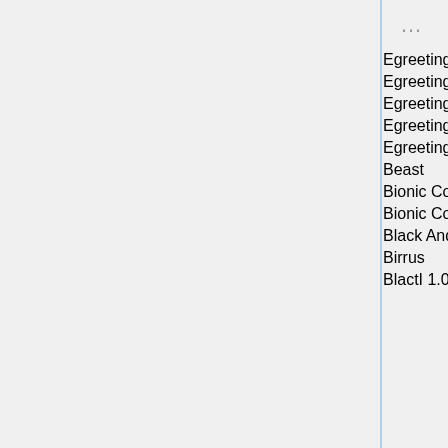| Title | Genre |
| --- | --- |
| Egreetings.com "Thinking of You" E-Card | Other |
| Egreetings.com "You're What a Girl Wants" E-Card | Other |
| Egreetings.com "What You've Got is What I Need" E-Card | Other |
| Egreetings.com "You Are My Universe" E-Card | Other |
| Egreetings.com "You Inspire Me" E-Card | Other |
| Beast | Action |
| Bionic Commando Outakes | Comedy |
| Bionic Commando | Comedy |
| Black And White 6! | Experimental |
| Birrus | Experimental |
| BlactI 1.06 | Action |